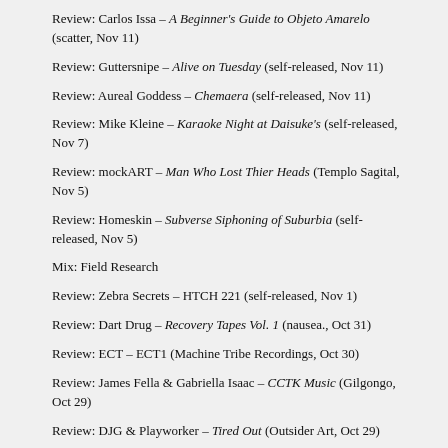Review: Carlos Issa – A Beginner's Guide to Objeto Amarelo (scatter, Nov 11)
Review: Guttersnipe – Alive on Tuesday (self-released, Nov 11)
Review: Aureal Goddess – Chemaera (self-released, Nov 11)
Review: Mike Kleine – Karaoke Night at Daisuke's (self-released, Nov 7)
Review: mockART – Man Who Lost Thier Heads (Templo Sagital, Nov 5)
Review: Homeskin – Subverse Siphoning of Suburbia (self-released, Nov 5)
Mix: Field Research
Review: Zebra Secrets – HTCH 221 (self-released, Nov 1)
Review: Dart Drug – Recovery Tapes Vol. 1 (nausea., Oct 31)
Review: ECT – ECT1 (Machine Tribe Recordings, Oct 30)
Review: James Fella & Gabriella Isaac – CCTK Music (Gilgongo, Oct 29)
Review: DJG & Playworker – Tired Out (Outsider Art, Oct 29)
Review: Water Source – We Went for a Swim and Parted Ways (self-released, Oct 25)
Review: Natural Temple – Natural Temple (Lab Rat, Oct 24)
Review: Gospel – Shrapnel (Phage Tapes, Oct 22)
Mix: All Hallows' Eve, Revisited
Blogroll